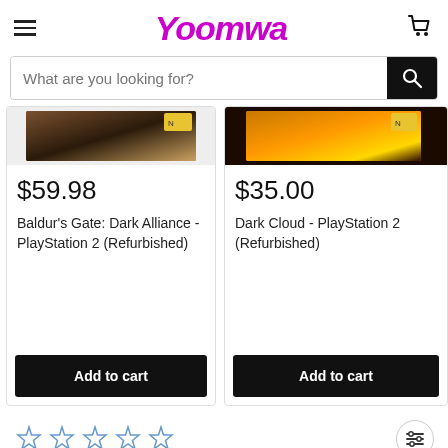Voomwa
What are you looking for?
$59.98
Baldur's Gate: Dark Alliance - PlayStation 2 (Refurbished)
Add to cart
$35.00
Dark Cloud - PlayStation 2 (Refurbished)
Add to cart